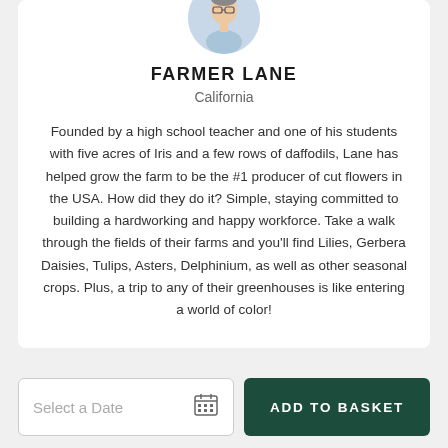[Figure (photo): Circular headshot photo of Farmer Lane, a man wearing glasses and a light blue shirt]
FARMER LANE
California
Founded by a high school teacher and one of his students with five acres of Iris and a few rows of daffodils, Lane has helped grow the farm to be the #1 producer of cut flowers in the USA. How did they do it? Simple, staying committed to building a hardworking and happy workforce. Take a walk through the fields of their farms and you'll find Lilies, Gerbera Daisies, Tulips, Asters, Delphinium, as well as other seasonal crops. Plus, a trip to any of their greenhouses is like entering a world of color!
Select a Date
ADD TO BASKET